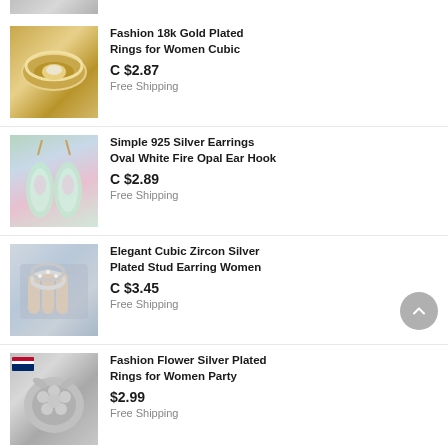[Figure (photo): Partial top of a listing item, cut off at top of page]
Fashion 18k Gold Plated Rings for Women Cubic
C $2.87
Free Shipping
Simple 925 Silver Earrings Oval White Fire Opal Ear Hook
C $2.89
Free Shipping
Elegant Cubic Zircon Silver Plated Stud Earring Women
C $3.45
Free Shipping
Fashion Flower Silver Plated Rings for Women Party
$2.99
Free Shipping
Women Silver Plated Rings